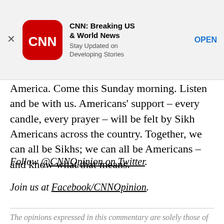[Figure (screenshot): CNN Breaking US & World News app advertisement banner with CNN logo, title, subtitle 'Stay Updated on Developing Stories', and OPEN button]
America. Come this Sunday morning. Listen and be with us. Americans' support – every candle, every prayer – will be felt by Sikh Americans across the country. Together, we can all be Sikhs; we can all be Americans – and know what that means.
Follow @CNNOpinion on Twitter.
Join us at Facebook/CNNOpinion.
The opinions expressed in this commentary are solely those of Valarie Kaur.